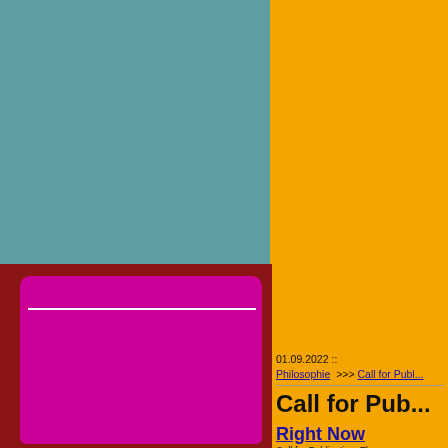01.09.2022 :: Philosophie >>> Call for Publ...
Call for Pub...
Right Now
Call for PublicationsTheme... SouthPublication: Acta Ac... 28.2.2022Recent years h...
Translation as In...